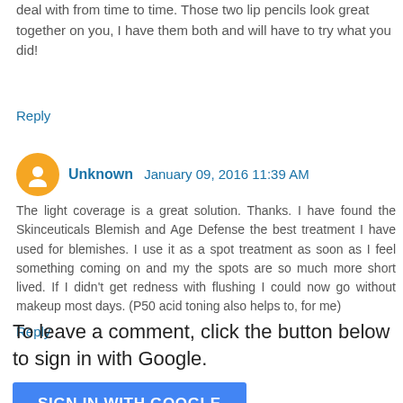deal with from time to time. Those two lip pencils look great together on you, I have them both and will have to try what you did!
Reply
Unknown  January 09, 2016 11:39 AM
The light coverage is a great solution. Thanks. I have found the Skinceuticals Blemish and Age Defense the best treatment I have used for blemishes. I use it as a spot treatment as soon as I feel something coming on and my the spots are so much more short lived. If I didn't get redness with flushing I could now go without makeup most days. (P50 acid toning also helps to, for me)
Reply
To leave a comment, click the button below to sign in with Google.
SIGN IN WITH GOOGLE